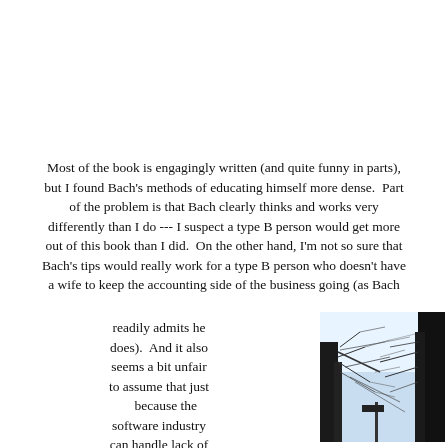Most of the book is engagingly written (and quite funny in parts), but I found Bach's methods of educating himself more dense.  Part of the problem is that Bach clearly thinks and works very differently than I do --- I suspect a type B person would get more out of this book than I did.  On the other hand, I'm not so sure that Bach's tips would really work for a type B person who doesn't have a wife to keep the accounting side of the business going (as Bach readily admits he does).  And it also seems a bit unfair to assume that just because the software industry can handle lack of credentials, that all industries can.
[Figure (photo): Black and white photo of bare winter trees with dark trunks and branches against a light sky]